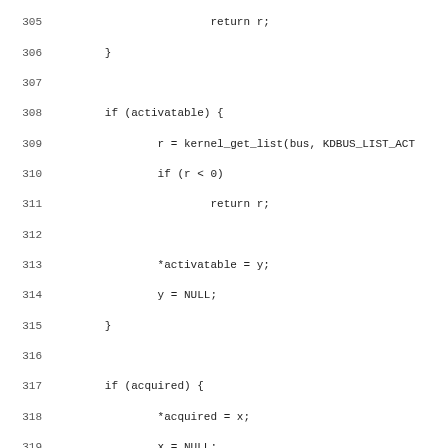Source code lines 305-337 of a C program showing bus_list_names function implementations with kernel_get_list calls, pointer assignments, and sd_bus_call_method invocations.